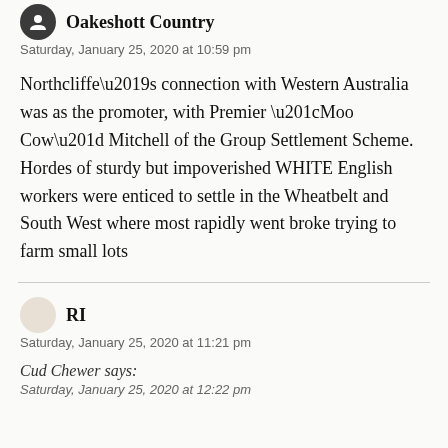Oakeshott Country
Saturday, January 25, 2020 at 10:59 pm
Northcliffe’s connection with Western Australia was as the promoter, with Premier “Moo Cow” Mitchell of the Group Settlement Scheme. Hordes of sturdy but impoverished WHITE English workers were enticed to settle in the Wheatbelt and South West where most rapidly went broke trying to farm small lots
RI
Saturday, January 25, 2020 at 11:21 pm
Cud Chewer says:
Saturday, January 25, 2020 at 12:22 pm